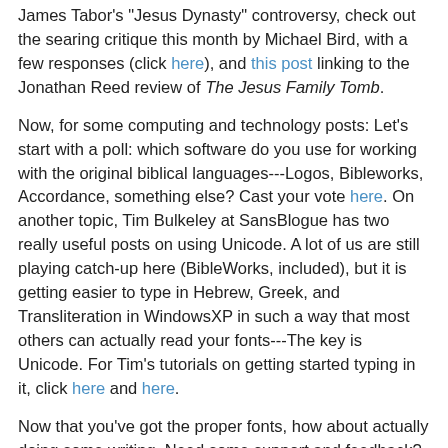James Tabor's "Jesus Dynasty" controversy, check out the searing critique this month by Michael Bird, with a few responses (click here), and this post linking to the Jonathan Reed review of The Jesus Family Tomb.
Now, for some computing and technology posts: Let's start with a poll: which software do you use for working with the original biblical languages---Logos, Bibleworks, Accordance, something else? Cast your vote here. On another topic, Tim Bulkeley at SansBlogue has two really useful posts on using Unicode. A lot of us are still playing catch-up here (BibleWorks, included), but it is getting easier to type in Hebrew, Greek, and Transliteration in WindowsXP in such a way that most others can actually read your fonts---The key is Unicode. For Tim's tutorials on getting started typing in it, click here and here.
Now that you've got the proper fonts, how about actually doing some writing. Need some support and feedback? Check out Angela R. Erisman's post about forming a "Writing Group" with some colleagues (click here).